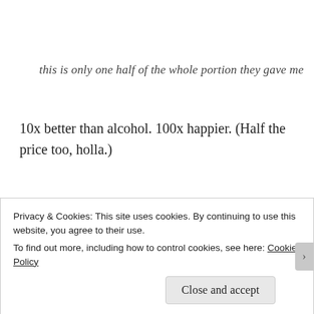this is only one half of the whole portion they gave me
10x better than alcohol. 100x happier. (Half the price too, holla.)
Yes to the Bray Cliff Walk with three friends.
I could have spent the whole day working on my ethics
Privacy & Cookies: This site uses cookies. By continuing to use this website, you agree to their use.
To find out more, including how to control cookies, see here: Cookie Policy
Close and accept